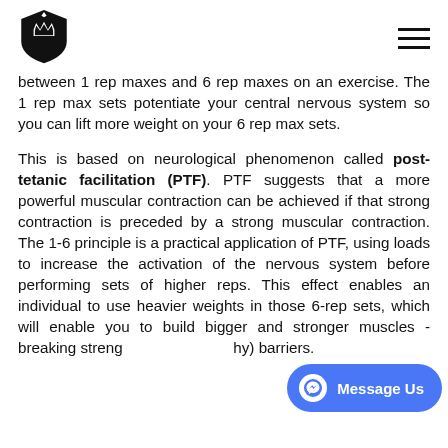[Logo] [Hamburger menu]
between 1 rep maxes and 6 rep maxes on an exercise. The 1 rep max sets potentiate your central nervous system so you can lift more weight on your 6 rep max sets.
This is based on neurological phenomenon called post-tetanic facilitation (PTF). PTF suggests that a more powerful muscular contraction can be achieved if that strong contraction is preceded by a strong muscular contraction. The 1-6 principle is a practical application of PTF, using loads to increase the activation of the nervous system before performing sets of higher reps. This effect enables an individual to use heavier weights in those 6-rep sets, which will enable you to build bigger and stronger muscles - breaking strength and hypertrophy) barriers.